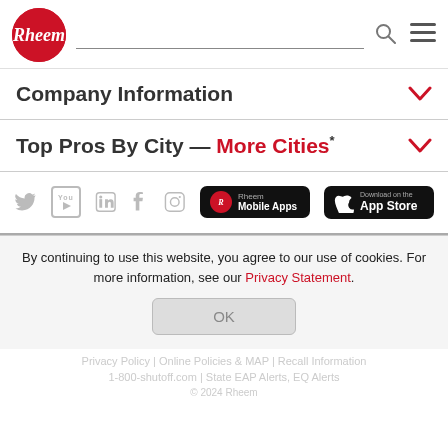[Figure (logo): Rheem logo - red circle with white Rheem script text]
Company Information
Top Pros By City — More Cities*
[Figure (infographic): Social media icons (Twitter, YouTube, LinkedIn, Facebook, Instagram) and app store buttons (Rheem Mobile Apps, Download on the App Store)]
By continuing to use this website, you agree to our use of cookies. For more information, see our Privacy Statement.
OK
Privacy Policy | Online Policies & MAP | Recall Information
1-800-shutoff.com | State EAP Alerts, EQ Alerts
© 2024 Rheem